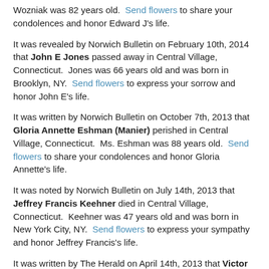Wozniak was 82 years old. Send flowers to share your condolences and honor Edward J's life.
It was revealed by Norwich Bulletin on February 10th, 2014 that John E Jones passed away in Central Village, Connecticut. Jones was 66 years old and was born in Brooklyn, NY. Send flowers to express your sorrow and honor John E's life.
It was written by Norwich Bulletin on October 7th, 2013 that Gloria Annette Eshman (Manier) perished in Central Village, Connecticut. Ms. Eshman was 88 years old. Send flowers to share your condolences and honor Gloria Annette's life.
It was noted by Norwich Bulletin on July 14th, 2013 that Jeffrey Francis Keehner died in Central Village, Connecticut. Keehner was 47 years old and was born in New York City, NY. Send flowers to express your sympathy and honor Jeffrey Francis's life.
It was written by The Herald on April 14th, 2013 that Victor Raymond Ledoux passed on in Seattle, Washington. Ledoux was 73 years old and was born in Central Village, CT. Send flowers to express your sympathy and honor Victor Raymond's life.